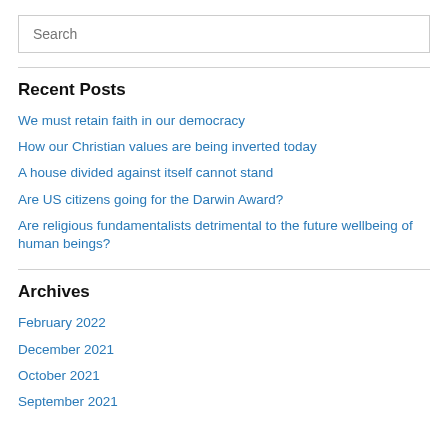Search
Recent Posts
We must retain faith in our democracy
How our Christian values are being inverted today
A house divided against itself cannot stand
Are US citizens going for the Darwin Award?
Are religious fundamentalists detrimental to the future wellbeing of human beings?
Archives
February 2022
December 2021
October 2021
September 2021